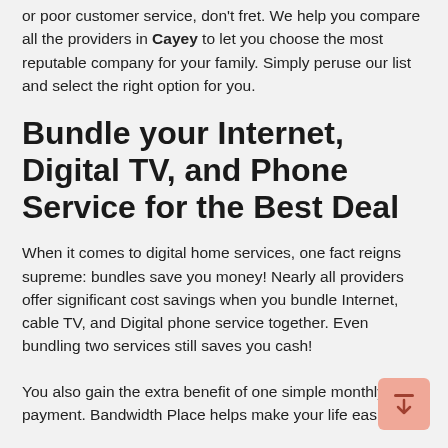or poor customer service, don't fret. We help you compare all the providers in Cayey to let you choose the most reputable company for your family. Simply peruse our list and select the right option for you.
Bundle your Internet, Digital TV, and Phone Service for the Best Deal
When it comes to digital home services, one fact reigns supreme: bundles save you money! Nearly all providers offer significant cost savings when you bundle Internet, cable TV, and Digital phone service together. Even bundling two services still saves you cash!
You also gain the extra benefit of one simple monthly payment. Bandwidth Place helps make your life easier